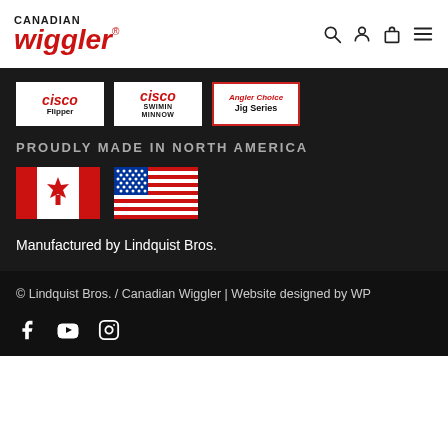Canadian Wiggler
[Figure (logo): Cisco Flipper brand logo]
[Figure (logo): Cisco Swimin Minnow brand logo]
[Figure (logo): Angler Choice Jig Series brand logo]
PROUDLY MADE IN NORTH AMERICA
[Figure (illustration): Canadian flag]
[Figure (illustration): American flag]
Manufactured by Lindquist Bros.
© Lindquist Bros. / Canadian Wiggler | Website designed by WP